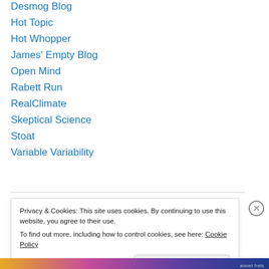Desmog Blog
Hot Topic
Hot Whopper
James' Empty Blog
Open Mind
Rabett Run
RealClimate
Skeptical Science
Stoat
Variable Variability
Privacy & Cookies: This site uses cookies. By continuing to use this website, you agree to their use. To find out more, including how to control cookies, see here: Cookie Policy
Close and accept